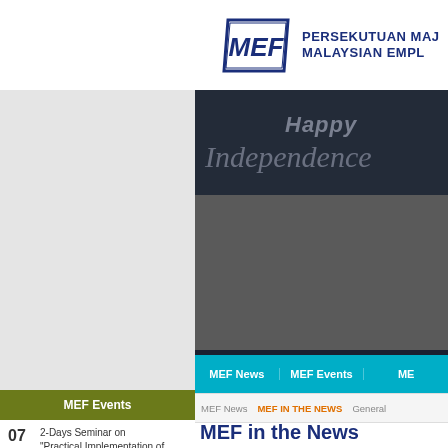[Figure (logo): MEF logo with blue border parallelogram shape containing white 'MEF' letters]
PERSEKUTUAN MAJ MALAYSIAN EMPL
[Figure (illustration): Dark banner with 'Happy Independence' text in italic script on dark navy/gray gradient background]
MEF News   MEF Events   ME
MEF News   MEF IN THE NEWS   General
MEF Events
07  2-Days Seminar on "Practical Implementation of Employment Act with the
MEF in the News